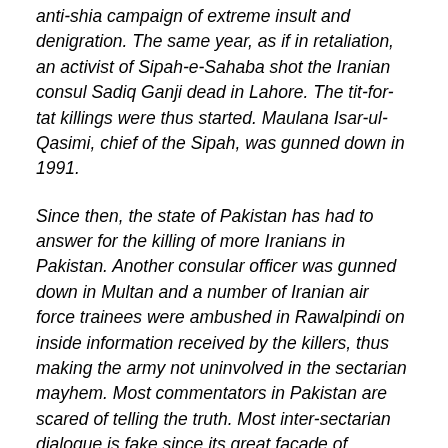anti-shia campaign of extreme insult and denigration. The same year, as if in retaliation, an activist of Sipah-e-Sahaba shot the Iranian consul Sadiq Ganji dead in Lahore. The tit-for-tat killings were thus started. Maulana Isar-ul-Qasimi, chief of the Sipah, was gunned down in 1991.
Since then, the state of Pakistan has had to answer for the killing of more Iranians in Pakistan. Another consular officer was gunned down in Multan and a number of Iranian air force trainees were ambushed in Rawalpindi on inside information received by the killers, thus making the army not uninvolved in the sectarian mayhem. Most commentators in Pakistan are scared of telling the truth. Most inter-sectarian dialogue is fake since its great facade of speech-making is nothing but divine-sounding hogwash.